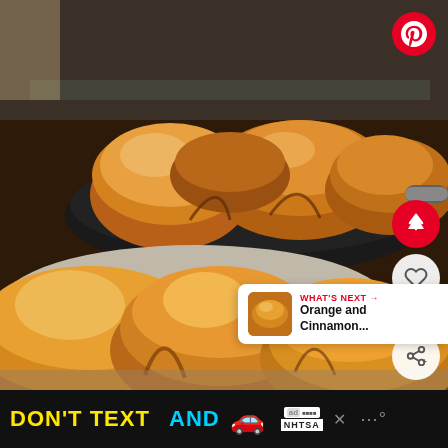[Figure (photo): Screenshot of a Pinterest page showing freshly baked golden bread rolls arranged in a round pan, with Pinterest UI overlay including share button, like button showing 59.4K, and 'What's Next' panel showing Orange and Cinnamon...]
59.4K
WHAT'S NEXT → Orange and Cinnamon...
[Figure (infographic): NHTSA advertisement banner at bottom: 'DON'T TEXT AND [car emoji]' with ad badge and NHTSA logo and close button]